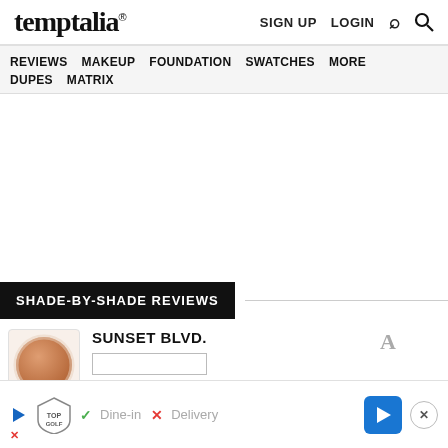temptalia® — SIGN UP  LOGIN  🔍
REVIEWS  MAKEUP  FOUNDATION FINDER  SWATCHES  MORE  DUPES  MATRIX
SHADE-BY-SHADE REVIEWS
SUNSET BLVD.
[Figure (photo): Product swatch thumbnail — a round bronzy-tan loose powder in a white circular pan]
[Figure (photo): Partial product swatch thumbnail — a tan/beige pressed powder, cropped at bottom]
[Figure (other): Advertisement banner: TopGolf — Dine-in (green checkmark) / Delivery (red X), with navigation arrow icon and close button]